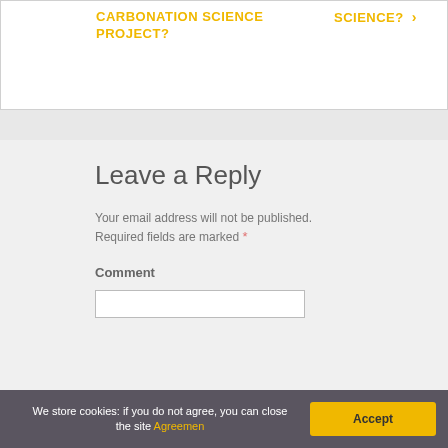CARBONATION SCIENCE PROJECT?
SCIENCE? ›
Leave a Reply
Your email address will not be published. Required fields are marked *
Comment
We store cookies: if you do not agree, you can close the site Agreement
Accept